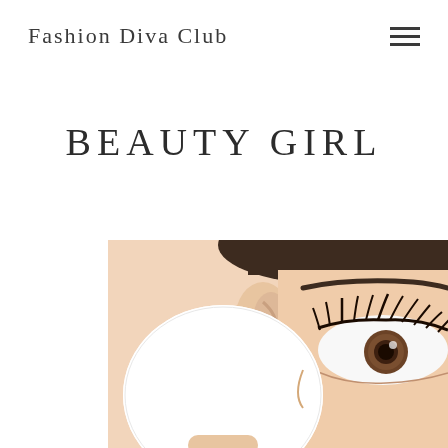Fashion Diva Club
BEAUTY GIRL
[Figure (photo): Close-up photo of a young woman with dark hair pulled back, holding a white makeup sponge/cotton pad near her eye. The photo is cropped to show her ear, eyebrow, eye with long lashes, and part of her cheek. The image is mostly white and skin-toned.]